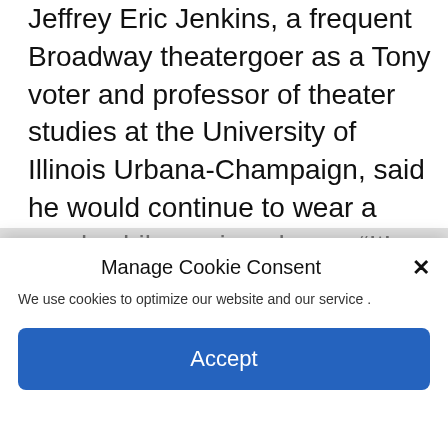Jeffrey Eric Jenkins, a frequent Broadway theatergoer as a Tony voter and professor of theater studies at the University of Illinois Urbana-Champaign, said he would continue to wear a mask while seeing shows. “It’s important, when you have people packed that tightly together, to control the flow of airborne germs at a time when we don’t know what the long-term effect of Covid is going to be,” he said.
Manage Cookie Consent
We use cookies to optimize our website and our service .
Accept